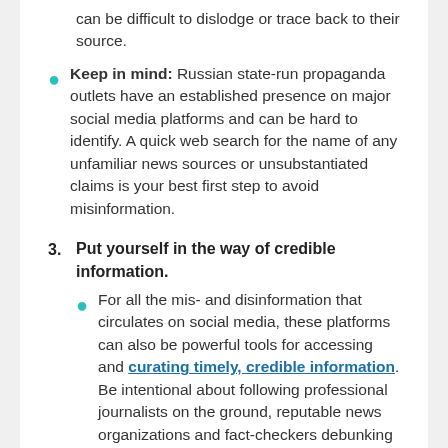can be difficult to dislodge or trace back to their source.
Keep in mind: Russian state-run propaganda outlets have an established presence on major social media platforms and can be hard to identify. A quick web search for the name of any unfamiliar news sources or unsubstantiated claims is your best first step to avoid misinformation.
3. Put yourself in the way of credible information.
For all the mis- and disinformation that circulates on social media, these platforms can also be powerful tools for accessing and curating timely, credible information. Be intentional about following professional journalists on the ground, reputable news organizations and fact-checkers debunking